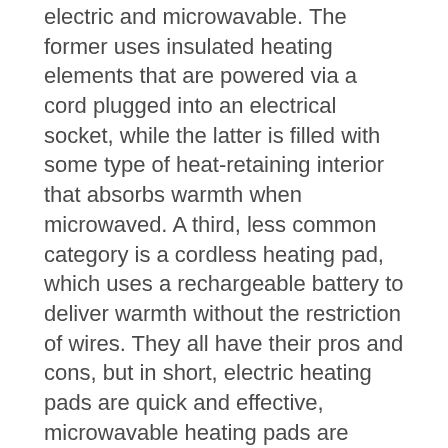electric and microwavable. The former uses insulated heating elements that are powered via a cord plugged into an electrical socket, while the latter is filled with some type of heat-retaining interior that absorbs warmth when microwaved. A third, less common category is a cordless heating pad, which uses a rechargeable battery to deliver warmth without the restriction of wires. They all have their pros and cons, but in short, electric heating pads are quick and effective, microwavable heating pads are affordable and easy to move around, and cordless heating pads are highly portable and tend to last longer than microwavable options.
All three of those categories come in various shapes and sizes, so it's important to choose